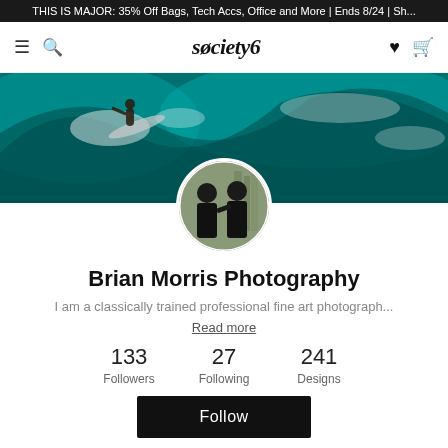THIS IS MAJOR: 35% Off Bags, Tech Accs, Office and More | Ends 8/24 | Sh...
[Figure (screenshot): Society6 navigation bar with hamburger menu, search icon, Society6 logo, heart and cart icons]
[Figure (photo): Hero banner image showing a surfer riding a large teal ocean wave]
[Figure (photo): Circular profile photo showing two men in black shirts]
Brian Morris Photography
I am a classically trained professional fine art photograph...
Read more
133
Followers
27
Following
241
Designs
Follow